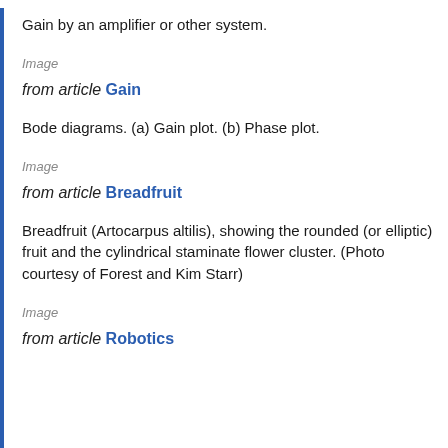Gain by an amplifier or other system.
Image
from article Gain
Bode diagrams. (a) Gain plot. (b) Phase plot.
Image
from article Breadfruit
Breadfruit (Artocarpus altilis), showing the rounded (or elliptic) fruit and the cylindrical staminate flower cluster. (Photo courtesy of Forest and Kim Starr)
Image
from article Robotics